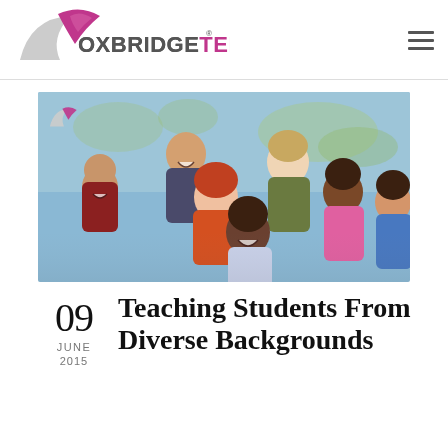OXBRIDGETEFL
[Figure (photo): Group of diverse smiling children in front of a world map in a classroom setting]
09
JUNE
2015
Teaching Students From Diverse Backgrounds